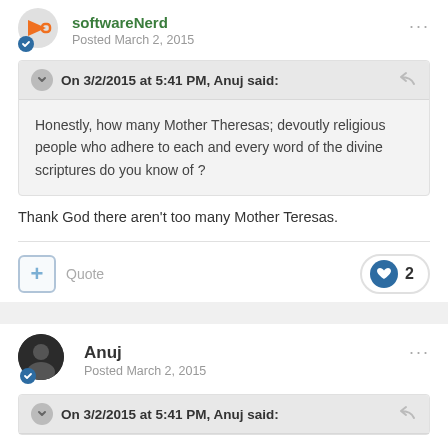softwareNerd — Posted March 2, 2015
On 3/2/2015 at 5:41 PM, Anuj said:
Honestly, how many Mother Theresas; devoutly religious people who adhere to each and every word of the divine scriptures do you know of ?
Thank God there aren't too many Mother Teresas.
Quote  ♥ 2
Anuj — Posted March 2, 2015
On 3/2/2015 at 5:41 PM, Anuj said: